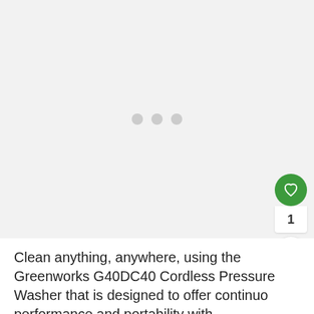[Figure (other): Product image loading area with three grey loading indicator dots centered in a light grey rectangular area]
[Figure (other): Green circular heart/wishlist button with count of 1, and a share button below]
Clean anything, anywhere, using the Greenworks G40DC40 Cordless Pressure Washer that is designed to offerontinuou performance and portability with